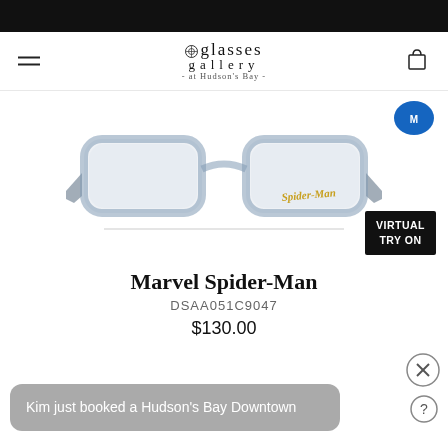glasses gallery at Hudson's Bay
[Figure (photo): Marvel Spider-Man eyeglasses frames in translucent blue/grey color with a gold Spider-Man logo on the temple, displayed on white background. A 'VIRTUAL TRY ON' button appears in the bottom-right of the image area.]
Marvel Spider-Man
DSAA051C9047
$130.00
Kim just booked a Hudson's Bay Downtown